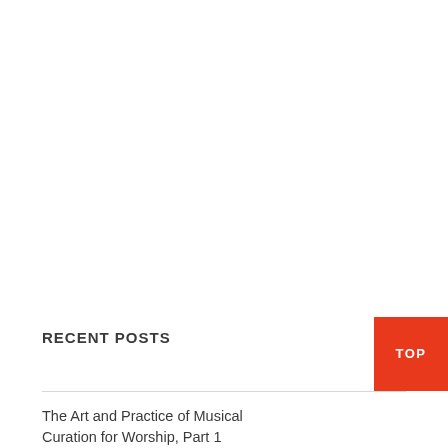RECENT POSTS
The Art and Practice of Musical Curation for Worship, Part 1